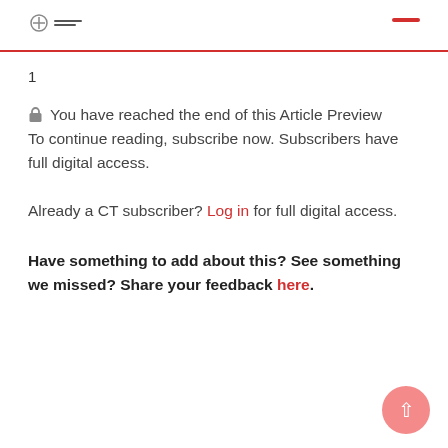Christianity Today logo header with navigation dash
1
🔒 You have reached the end of this Article Preview To continue reading, subscribe now. Subscribers have full digital access.
Already a CT subscriber? Log in for full digital access.
Have something to add about this? See something we missed? Share your feedback here.